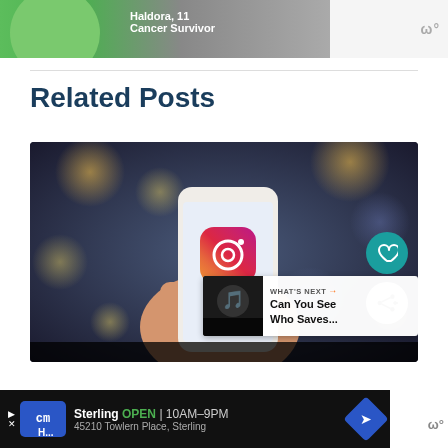[Figure (photo): Top advertisement banner with green blob shape, text 'Haldora, 11 Cancer Survivor' and Waze logo]
Related Posts
[Figure (photo): Hand holding a smartphone displaying the Instagram app logo, blurred mall/venue background with bokeh lights. Overlaid: teal heart/like button, white share button, and 'WHAT'S NEXT Can You See Who Saves...' widget in bottom right.]
[Figure (photo): Bottom advertisement: CarMax store - Sterling OPEN 10AM-9PM, 45210 Towlern Place, Sterling]